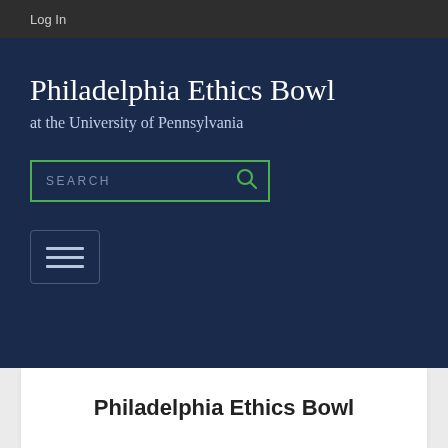Log In
Philadelphia Ethics Bowl
at the University of Pennsylvania
[Figure (screenshot): Search input box with green border and magnifying glass icon]
[Figure (other): Hamburger menu button with three horizontal lines]
Philadelphia Ethics Bowl